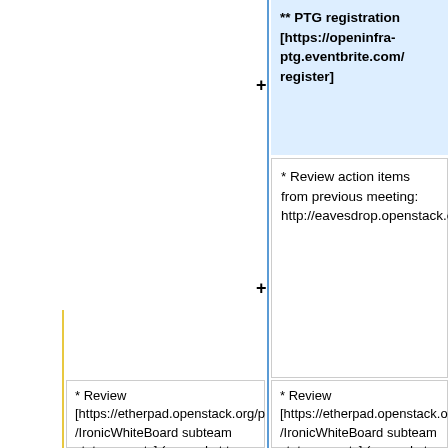** PTG registration [https://openinfra-ptg.eventbrite.com/ register]
* Review action items from previous meeting: http://eavesdrop.openstack.org/meetings/ironic/2022/
* Review [https://etherpad.openstack.org/p/IronicWhiteBoard subteam status reports] (capped at ten minutes)
* Review [https://etherpad.openstack.org/p/IronicWhiteBoard subteam status reports] (capped at ten minutes)
* Deciding on priorities for the coming week
* Deciding on [https://review.opendev.org/q/status:open+hashtag:ironic-week-prio priorities for the coming week]
* Discussion (Requests to have your patch reviewed should not be a 'Discussion'
* Baremetal SIG (https://etherpad.opendev.org/p/bare-metal-sig)